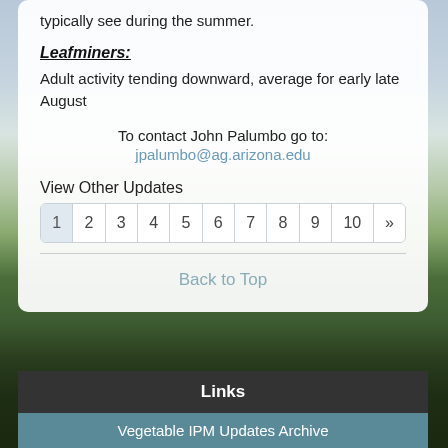typically see during the summer.
Leafminers:
Adult activity tending downward, average for early late August
To contact John Palumbo go to:
jpalumbo@ag.arizona.edu
View Other Updates
1 2 3 4 5 6 7 8 9 10 »
Back to Top
Links
Vegetable IPM Updates Archive